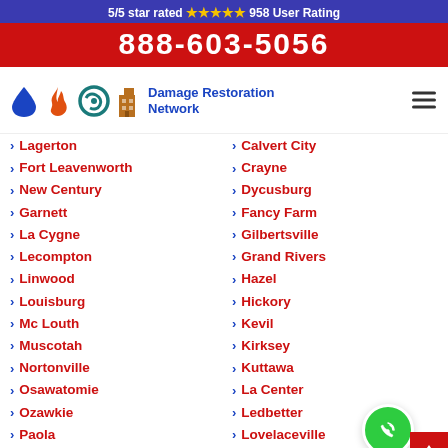5/5 star rated ★★★★★ 958 User Rating
888-603-5056
[Figure (logo): Damage Restoration Network logo with water drop, flame, hurricane, and building icons]
Lagerton
Fort Leavenworth
New Century
Garnett
La Cygne
Lecompton
Linwood
Louisburg
Mc Louth
Muscotah
Nortonville
Osawatomie
Ozawkie
Paola
Stilwell
Calvert City
Crayne
Dycusburg
Fancy Farm
Gilbertsville
Grand Rivers
Hazel
Hickory
Kevil
Kirksey
Kuttawa
La Center
Ledbetter
Lovelaceville
Lowes